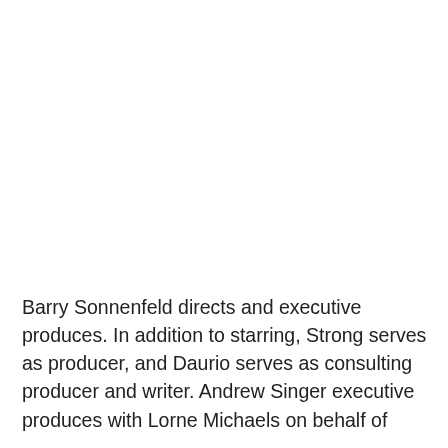Barry Sonnenfeld directs and executive produces. In addition to starring, Strong serves as producer, and Daurio serves as consulting producer and writer. Andrew Singer executive produces with Lorne Michaels on behalf of